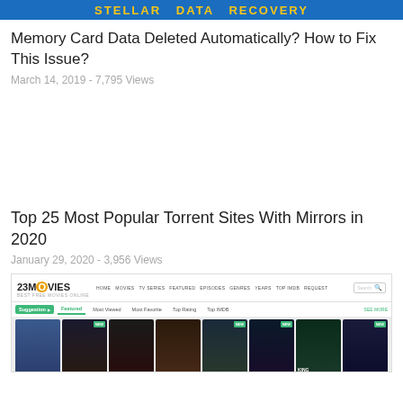[Figure (screenshot): Blue banner header with yellow bold text]
Memory Card Data Deleted Automatically? How to Fix This Issue?
March 14, 2019 - 7,795 Views
Top 25 Most Popular Torrent Sites With Mirrors in 2020
January 29, 2020 - 3,956 Views
[Figure (screenshot): Screenshot of 23Movies website showing navigation bar and movie thumbnails including Riverdale and King of Thieves]